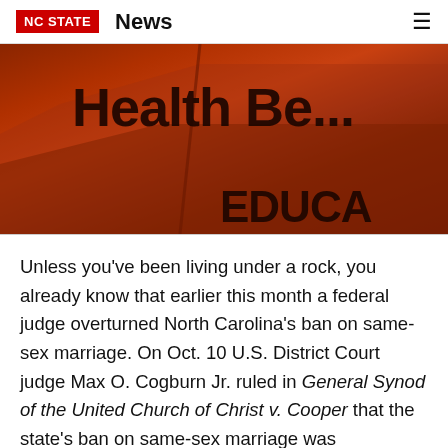NC STATE  News
[Figure (photo): Close-up photo of reddish-orange file folders with text 'Health Be...' and 'EDUCA' visible on the tabs]
Unless you've been living under a rock, you already know that earlier this month a federal judge overturned North Carolina's ban on same-sex marriage. On Oct. 10 U.S. District Court judge Max O. Cogburn Jr. ruled in General Synod of the United Church of Christ v. Cooper that the state's ban on same-sex marriage was unconstitutional, paving the